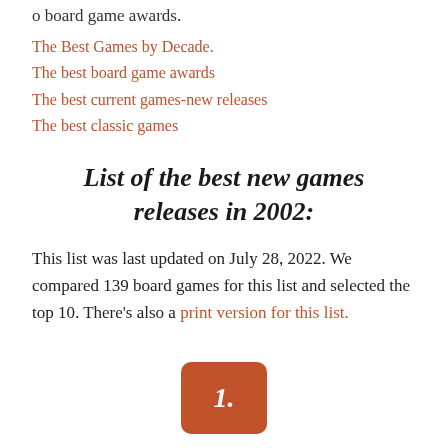o board game awards.
The Best Games by Decade.
The best board game awards
The best current games-new releases
The best classic games
List of the best new games releases in 2002:
This list was last updated on July 28, 2022. We compared 139 board games for this list and selected the top 10. There's also a print version for this list.
[Figure (other): Orange rounded rectangle badge with the number 1. in white italic bold text]